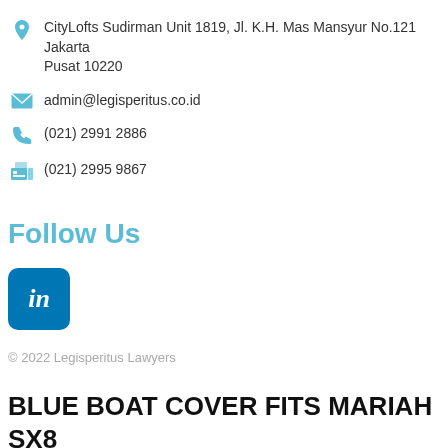CityLofts Sudirman Unit 1819, Jl. K.H. Mas Mansyur No.121 Jakarta Pusat 10220
admin@legisperitus.co.id
(021) 2991 2886
(021) 2995 9867
Follow Us
[Figure (logo): LinkedIn logo button - blue rounded square with white 'in' text]
© 2022 Legisperitus Lawyers
BLUE BOAT COVER FITS MARIAH SX8 2003-2006